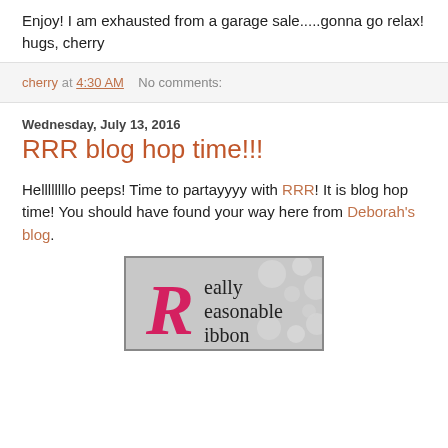Enjoy!  I am exhausted from a garage sale.....gonna go relax!  hugs, cherry
cherry at 4:30 AM    No comments:
Wednesday, July 13, 2016
RRR blog hop time!!!
Hellllllllo peeps!  Time to partayyyy with RRR!  It is blog hop time!  You should have found your way here from Deborah's blog.
[Figure (logo): Really Reasonable Ribbon logo with large pink R and text 'eally reasonable ibbon' on grey dotted background]